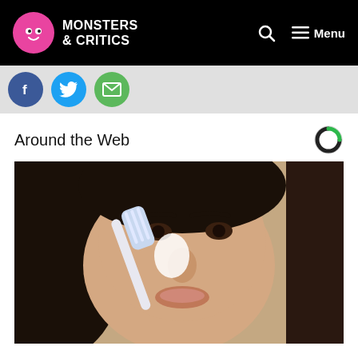MONSTERS & CRITICS
[Figure (illustration): Social media share icons: Facebook (blue circle with f), Twitter (cyan circle with bird), Email (green circle with envelope)]
Around the Web
[Figure (photo): Woman with dark hair applying white substance on her nose with a toothbrush, closeup beauty/skincare photo]